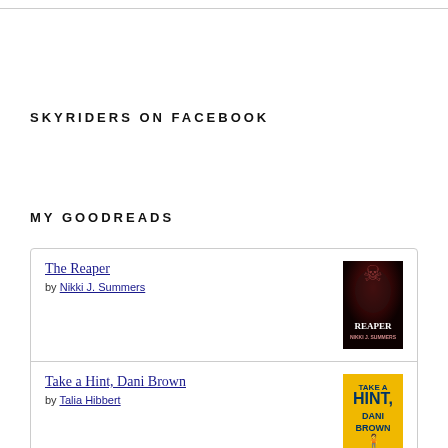SKYRIDERS ON FACEBOOK
MY GOODREADS
The Reaper by Nikki J. Summers
Take a Hint, Dani Brown by Talia Hibbert